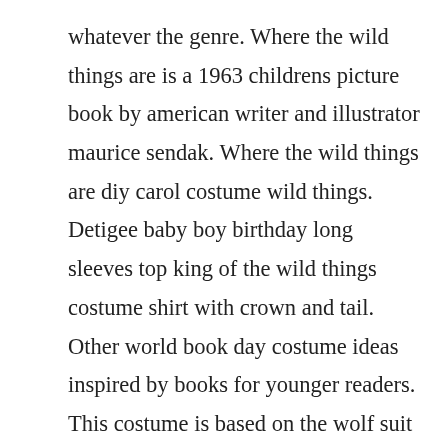whatever the genre. Where the wild things are is a 1963 childrens picture book by american writer and illustrator maurice sendak. Where the wild things are diy carol costume wild things. Detigee baby boy birthday long sleeves top king of the wild things costume shirt with crown and tail. Other world book day costume ideas inspired by books for younger readers. This costume is based on the wolf suit worn by the mischievous max character in maurice sendaks classic picture book.